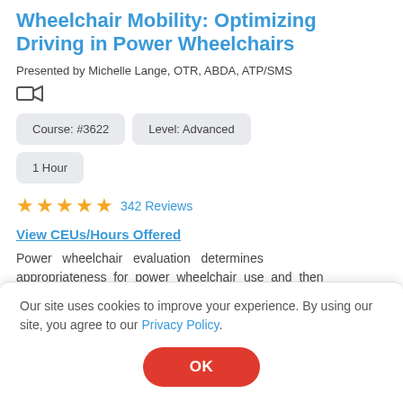Wheelchair Mobility: Optimizing Driving in Power Wheelchairs
Presented by Michelle Lange, OTR, ABDA, ATP/SMS
[Figure (other): Video camera icon]
Course: #3622
Level: Advanced
1 Hour
★★★★★  342 Reviews
View CEUs/Hours Offered
Power wheelchair evaluation determines appropriateness for power wheelchair use and then
Our site uses cookies to improve your experience. By using our site, you agree to our Privacy Policy.